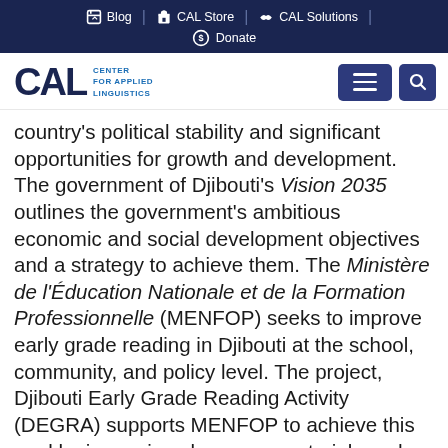Blog | CAL Store | CAL Solutions | Donate
[Figure (logo): CAL Center for Applied Linguistics logo with navigation menu and search buttons]
country's political stability and significant opportunities for growth and development. The government of Djibouti's Vision 2035 outlines the government's ambitious economic and social development objectives and a strategy to achieve them. The Ministère de l'Éducation Nationale et de la Formation Professionnelle (MENFOP) seeks to improve early grade reading in Djibouti at the school, community, and policy level. The project, Djibouti Early Grade Reading Activity (DEGRA) supports MENFOP to achieve this goal by improving classroom materials and teacher